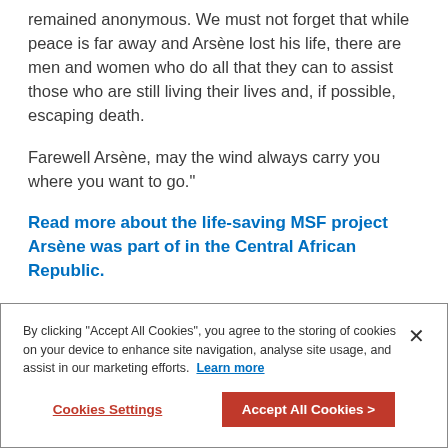remained anonymous. We must not forget that while peace is far away and Arsène lost his life, there are men and women who do all that they can to assist those who are still living their lives and, if possible, escaping death.
Farewell Arsène, may the wind always carry you where you want to go."
Read more about the life-saving MSF project Arsène was part of in the Central African Republic.
Below you can read Sergio's blog in the original Italian. / Ecco il blog di Sergio nella versione originale italiana.
By clicking "Accept All Cookies", you agree to the storing of cookies on your device to enhance site navigation, analyse site usage, and assist in our marketing efforts. Learn more
Cookies Settings
Accept All Cookies >